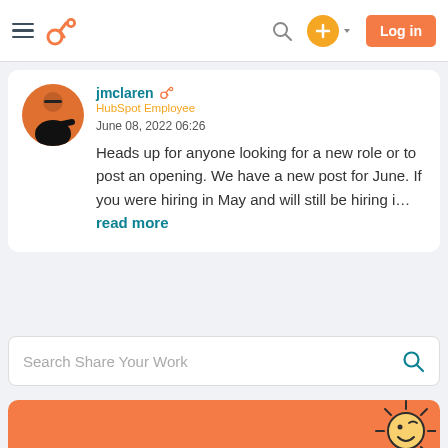HubSpot Community — Navigation bar with logo, search, plus button, and Log in button
[Figure (screenshot): User avatar: a person in black shirt against an orange background]
jmclaren HubSpot Employee
June 08, 2022 06:26
Heads up for anyone looking for a new role or to post an opening. We have a new post for June. If you were hiring in May and will still be hiring i...read more
Search Share Your Work
[Figure (illustration): Orange banner section with a cartoon sun illustration in the bottom right]